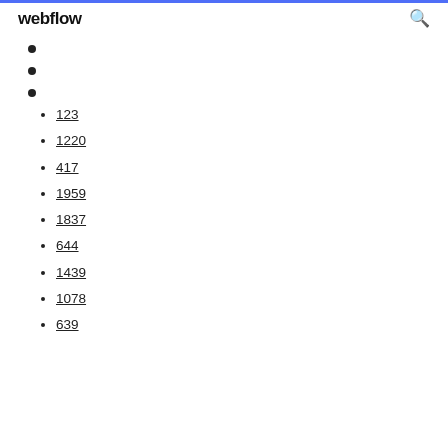webflow
123
1220
417
1959
1837
644
1439
1078
639